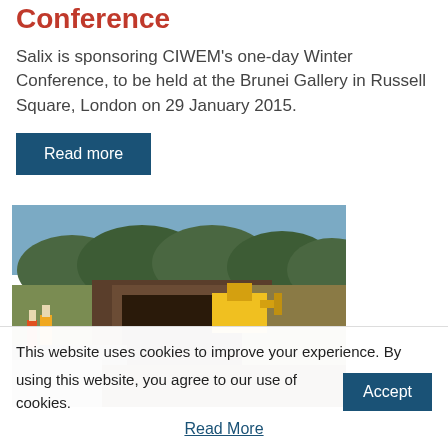Conference
Salix is sponsoring CIWEM's one-day Winter Conference, to be held at the Brunei Gallery in Russell Square, London on 29 January 2015.
Read more
[Figure (photo): Outdoor construction/excavation site photo showing workers in high-visibility vests, a yellow excavator, and a muddy trench dug through a rural road area with trees and fields in the background.]
This website uses cookies to improve your experience. By using this website, you agree to our use of cookies.
Accept
Read More